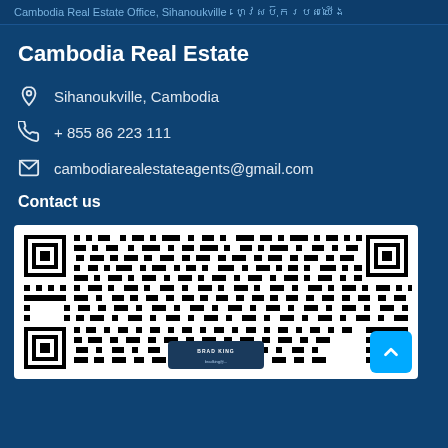Cambodia Real Estate Office, Sihanoukville - ហ្វេសប៊ុករបស់យើង
Cambodia Real Estate
Sihanoukville, Cambodia
+ 855 86 223 111
cambodiarealestateagents@gmail.com
Contact us
[Figure (other): QR code for Cambodia Real Estate contact page with Brad King business card overlay]